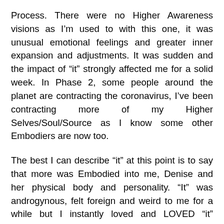Process. There were no Higher Awareness visions as I’m used to with this one, it was unusual emotional feelings and greater inner expansion and adjustments. It was sudden and the impact of “it” strongly affected me for a solid week. In Phase 2, some people around the planet are contracting the coronavirus, I’ve been contracting more of my Higher Selves/Soul/Source as I know some other Embodiers are now too.
The best I can describe “it” at this point is to say that more was Embodied into me, Denise and her physical body and personality. “It” was androgynous, felt foreign and weird to me for a while but I instantly loved and LOVED “it” profoundly. As the past two weeks unfolded, the really strange sensations of having just been greatly added to and expanded have become my latest NEW normal. I